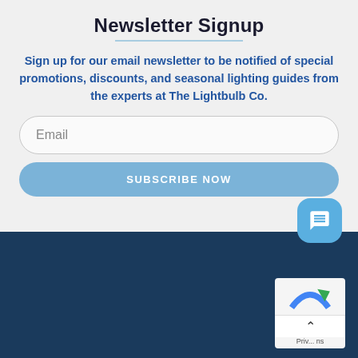Newsletter Signup
Sign up for our email newsletter to be notified of special promotions, discounts, and seasonal lighting guides from the experts at The Lightbulb Co.
Email
SUBSCRIBE NOW
[Figure (logo): The Lightbulb Company logo with blue dots and white text on dark blue background]